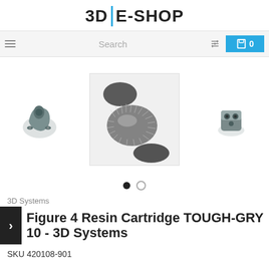3D|E-SHOP
[Figure (screenshot): Search bar UI with menu icon, search field, filter icon, and cyan cart button showing 0]
[Figure (photo): Product gallery showing three 3D printed resin parts in grey/dark colors. Left: bracket/mount part, Center (highlighted): furry/textured hedgehog-like shapes on white background, Right: small cubic connector part]
3D Systems
Figure 4 Resin Cartridge TOUGH-GRY 10 - 3D Systems
SKU 420108-901